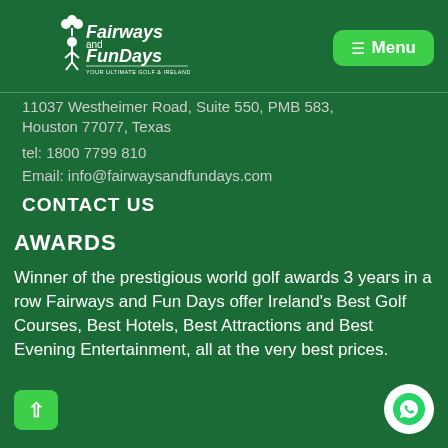[Figure (logo): Fairways and Fun Days logo - white figure with shamrock, text 'Fairways and Fun Days' and tagline 'YOUR ULTIMATE GOLF & IRELAND EXPERIENCE']
☰ Menu
11037 Westheimer Road, Suite 550, PMB 583,
Houston 77077, Texas
tel: 1800 7799 810
Email: info@fairwaysandfundays.com
CONTACT US
AWARDS
Winner of the prestigious world golf awards 3 years in a row Fairways and Fun Days offer Ireland's Best Golf Courses, Best Hotels, Best Attractions and Best Evening Entertainment, all at the very best prices.